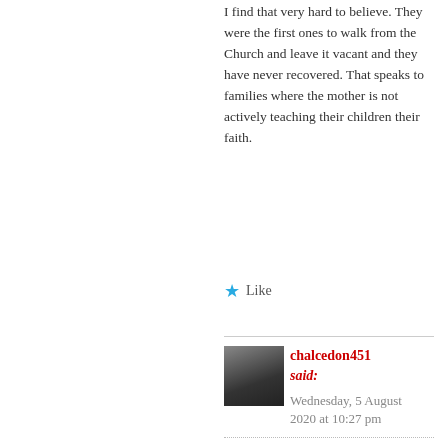I find that very hard to believe. They were the first ones to walk from the Church and leave it vacant and they have never recovered. That speaks to families where the mother is not actively teaching their children their faith.
★ Like
[Figure (photo): Small avatar photo of a person with grey hair and beard, dark clothing]
chalcedon451 said: Wednesday, 5 August 2020 at 10:27 pm